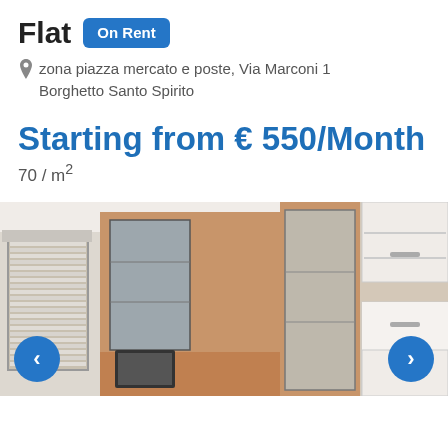Flat  On Rent
zona piazza mercato e poste, Via Marconi 1
Borghetto Santo Spirito
Starting from € 550/Month
70 / m²
[Figure (photo): Interior photo of a furnished flat showing a living/bedroom with wooden storage units, glass-door cabinets, white wall cupboards, roller blinds on a window, and a small TV. Navigation arrows (< >) are visible at the bottom corners.]